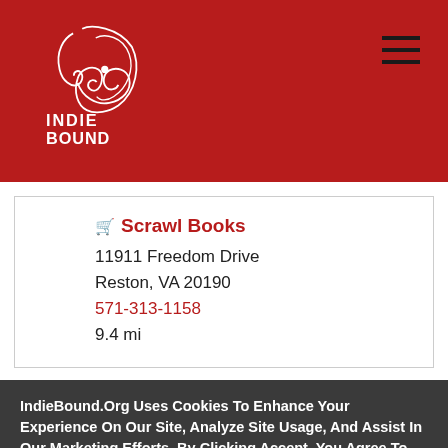[Figure (logo): IndieBound logo — white feather/book illustration above text INDIE BOUND on dark red background]
Scrawl Books
11911 Freedom Drive
Reston, VA 20190
571-313-1158
9.4 mi
Reading Tree Books
IndieBound.Org Uses Cookies To Enhance Your Experience On Our Site, Analyze Site Usage, And Assist In Our Marketing Efforts. By Clicking Accept, You Agree To The Storing Of Cookies On Your Device. View Our Cookie Policy.
Give me more info